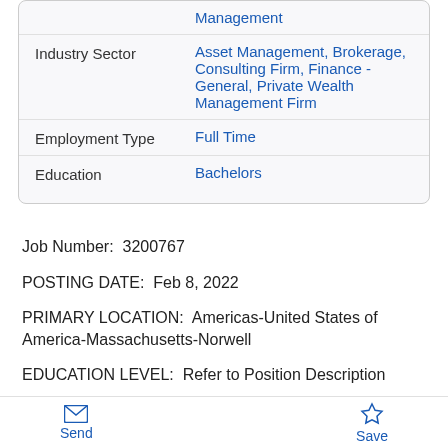| Field | Value |
| --- | --- |
|  | Management |
| Industry Sector | Asset Management, Brokerage, Consulting Firm, Finance - General, Private Wealth Management Firm |
| Employment Type | Full Time |
| Education | Bachelors |
Job Number:  3200767
POSTING DATE:  Feb 8, 2022
PRIMARY LOCATION:  Americas-United States of America-Massachusetts-Norwell
EDUCATION LEVEL:  Refer to Position Description
Send  Save